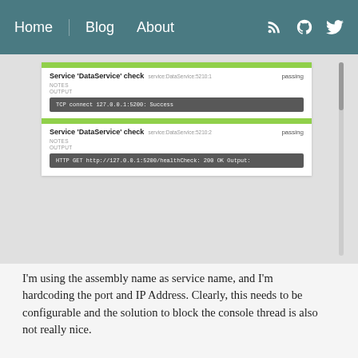Home  Blog  About
[Figure (screenshot): Consul UI screenshot showing two 'Service DataService check' entries, both passing. First has TCP connect 127.0.0.1:5200: Success output. Second has HTTP GET http://127.0.0.1:5200/healthCheck: 200 OK Output.]
I'm using the assembly name as service name, and I'm hardcoding the port and IP Address. Clearly, this needs to be configurable and the solution to block the console thread is also not really nice.
More Sophisticated Implementation
Knowing the basics and how the registration process works, let's improve the implementation a little bit.
Goals: